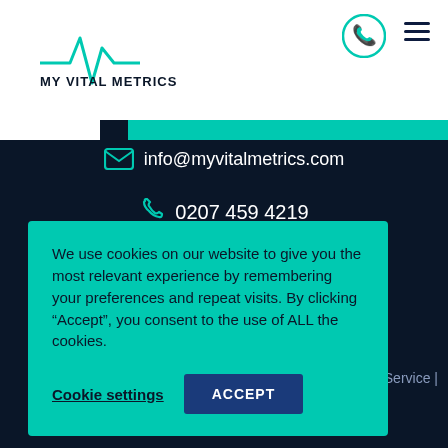[Figure (logo): My Vital Metrics logo with teal ECG heartbeat line above text]
info@myvitalmetrics.com
0207 459 4219
Terms of Service |
We use cookies on our website to give you the most relevant experience by remembering your preferences and repeat visits. By clicking “Accept”, you consent to the use of ALL the cookies.
Cookie settings
ACCEPT